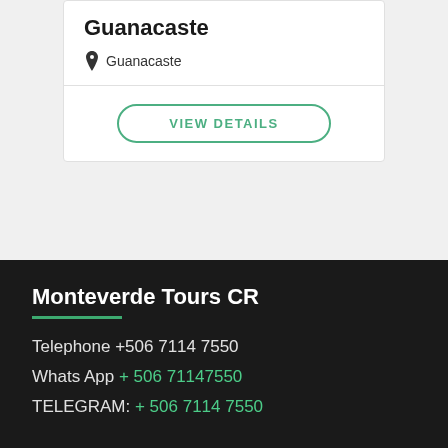Guanacaste
Guanacaste
VIEW DETAILS
Monteverde Tours CR
Telephone +506 7114 7550
Whats App + 506 71147550
TELEGRAM: + 506 7114 7550